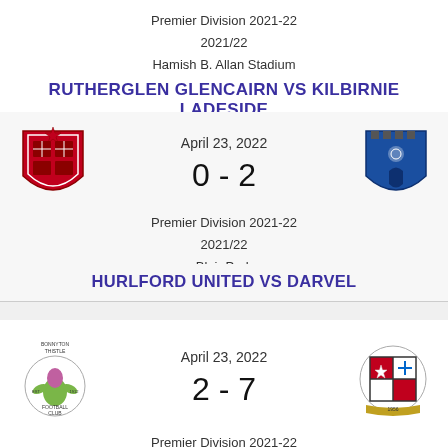Premier Division 2021-22
2021/22
Hamish B. Allan Stadium
RUTHERGLEN GLENCAIRN VS KILBIRNIE LADESIDE
April 23, 2022
0 - 2
Premier Division 2021-22
2021/22
Blair Park
HURLFORD UNITED VS DARVEL
April 23, 2022
2 - 7
Premier Division 2021-22